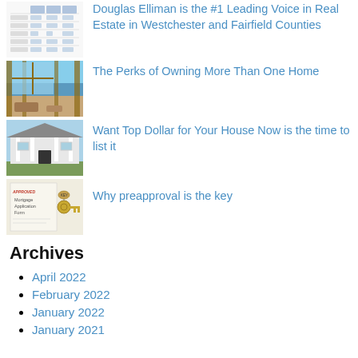[Figure (table-as-image): Thumbnail image of a data table/report for Douglas Elliman]
Douglas Elliman is the #1 Leading Voice in Real Estate in Westchester and Fairfield Counties
[Figure (photo): Interior photo of a home with large windows and wooden beams overlooking water]
The Perks of Owning More Than One Home
[Figure (photo): Exterior photo of a white house with dark door and porch columns]
Want Top Dollar for Your House Now is the time to list it
[Figure (photo): Photo of a mortgage application form with house keys and an APPROVED stamp]
Why preapproval is the key
Archives
April 2022
February 2022
January 2022
January 2021